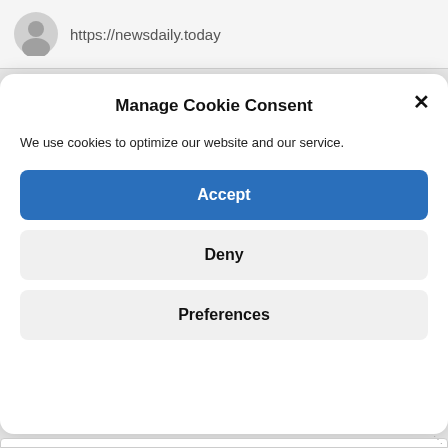[Figure (screenshot): Gray avatar/user icon]
https://newsdaily.today
Manage Cookie Consent
We use cookies to optimize our website and our service.
Accept
Deny
Preferences